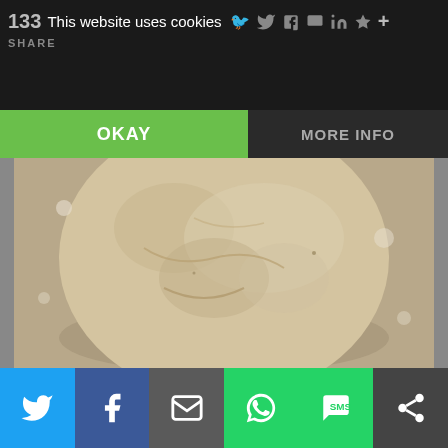133 SHARE
This website uses cookies
OKAY
MORE INFO
[Figure (photo): A ball of bread dough on a floured surface, and a wooden rolling pin on a dark baking surface]
Social share buttons: Twitter, Facebook, Email, WhatsApp, SMS, More